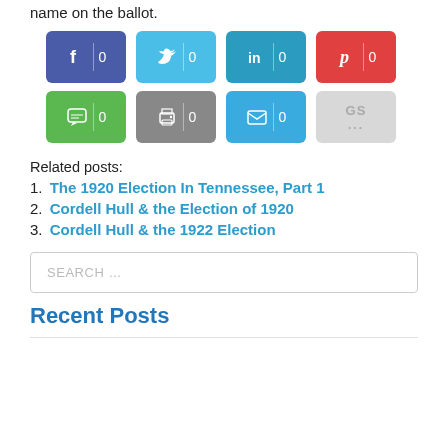name on the ballot.
[Figure (infographic): Social share buttons: Facebook (0), Twitter (0), LinkedIn (0), Pinterest (0), SMS (0), Print (0), Email (0), GS (...)]
Related posts:
1. The 1920 Election In Tennessee, Part 1
2. Cordell Hull & the Election of 1920
3. Cordell Hull & the 1922 Election
SEARCH ...
Recent Posts